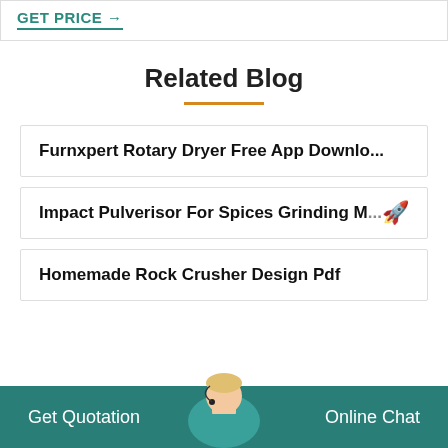GET PRICE →
Related Blog
Furnxpert Rotary Dryer Free App Downlo...
Impact Pulverisor For Spices Grinding M...
Homemade Rock Crusher Design Pdf
Get Quotation    Online Chat